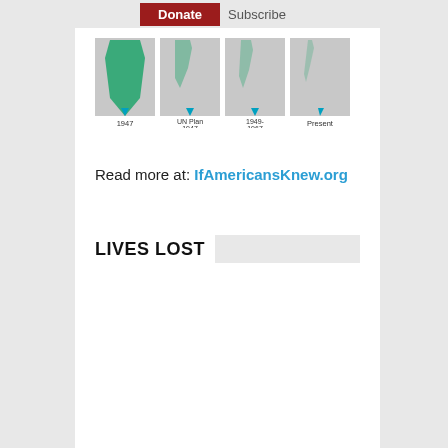Donate  Subscribe
[Figure (illustration): Maps showing Palestinian land loss over time: 1947, UN Plan 1947, 1949-1967, Present. Each map shows shrinking green/teal Palestinian territory against gray Israeli territory.]
Read more at: IfAmericansKnew.org
LIVES LOST